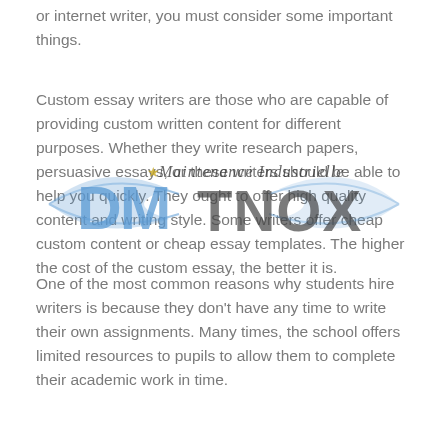or internet writer, you must consider some important things.
Custom essay writers are those who are capable of providing custom written content for different purposes. Whether they write research papers, persuasive essays, or these writers should be able to help you quickly. They ought to offer high quality content and writing style. Some writers offer cheap custom content or cheap essay templates. The higher the cost of the custom essay, the better it is.
[Figure (logo): DM Tnox Maintenance Industrielle watermark logo overlaid on text]
One of the most common reasons why students hire writers is because they don't have any time to write their own assignments. Many times, the school offers limited resources to pupils to allow them to complete their academic work in time.